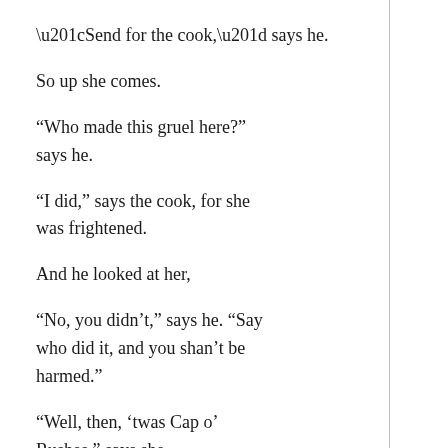“Send for the cook,” says he.
So up she comes.
“Who made this gruel here?” says he.
“I did,” says the cook, for she was frightened.
And he looked at her,
“No, you didn’t,” says he. “Say who did it, and you shan’t be harmed.”
“Well, then, ‘twas Cap o’ Rushes,” says she.
“Send Cap o’ Rushes here,” says he.